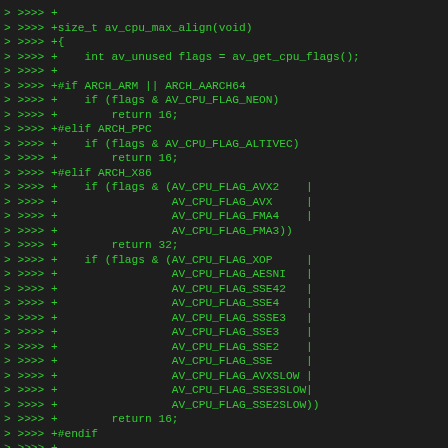[Figure (screenshot): Code diff snippet showing C code for av_cpu_max_align function with added lines marked with '> >>>> +' prefix in green monospace font on dark background. The code includes architecture-specific CPU flag checks for ARM/AARCH64, PPC, and X86.]